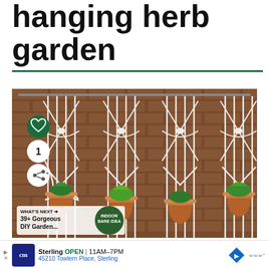hanging herb garden
[Figure (photo): Macrame hanging herb garden with four terra cotta pots suspended by white knotted rope against a brick wall background, with social media overlay icons (heart, count badge showing 1, share button) and a 'What's Next' overlay showing '39+ Gorgeous DIY Garden...']
WHAT'S NEXT → 39+ Gorgeous DIY Garden...